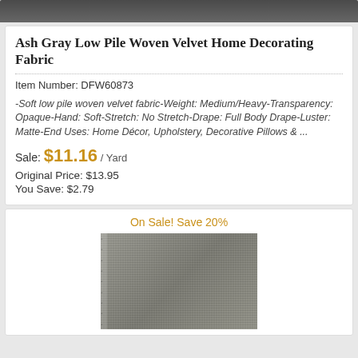[Figure (photo): Top portion of ash gray velvet fabric image (cropped)]
Ash Gray Low Pile Woven Velvet Home Decorating Fabric
Item Number: DFW60873
-Soft low pile woven velvet fabric-Weight: Medium/Heavy-Transparency: Opaque-Hand: Soft-Stretch: No Stretch-Drape: Full Body Drape-Luster: Matte-End Uses: Home Décor, Upholstery, Decorative Pillows & ...
Sale: $11.16 / Yard
Original Price: $13.95
You Save: $2.79
On Sale! Save 20%
[Figure (photo): Ash gray low pile woven velvet fabric swatch with ruler markings on the left side, showing texture detail]